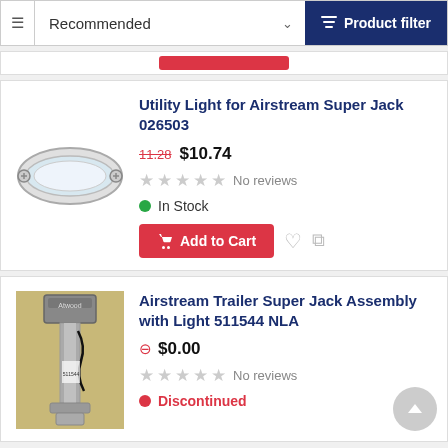Recommended | Product filter
[Figure (photo): Utility light for Airstream Super Jack - chrome oval fixture with mounting screws]
Utility Light for Airstream Super Jack 026503
11.28 $10.74
No reviews
In Stock
Add to Cart
[Figure (photo): Airstream Trailer Super Jack Assembly with Light - tall silver hydraulic jack unit with black wiring]
Airstream Trailer Super Jack Assembly with Light 511544 NLA
⊖ $0.00
No reviews
Discontinued